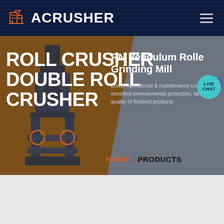ACRUSHER
[Figure (screenshot): ACrusher website screenshot showing Roll Crusher / Double Roll Crusher product page with hero image of industrial crusher machine, navigation bar with logo, live chat button, and product description for RN Pendulum Roller Grinding Mill]
ROLL CRUSHER DOUBLE ROLL CRUSHER
RN Pendulum Roller Grinding Mill
Lower operational & maintenance costs, excellent environmental protection, better quality of finished products
HOME / PRODUCTS